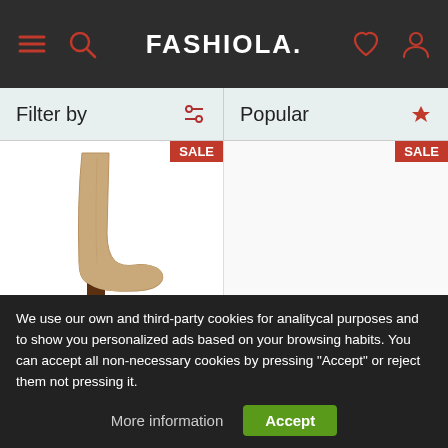FASHIOLA.
Filter by
Popular
[Figure (photo): Beige/tan 80mm leather tall high-heel boot with dark brown block heel, shown against white background. SALE badge in top-right corner.]
$537.00 $1,075.00 REJINA PYO 80mm Leather Tall Boots
[Figure (photo): Empty product image area for Public Desire shoe. SALE badge in top-right corner.]
$37.99 $74.99 Public Desire On Point Black PU Chunk...
We use our own and third-party cookies for analitycal purposes and to show you personalized ads based on your browsing habits. You can accept all non-necessary cookies by pressing "Accept" or reject them not pressing it.
More information
Accept